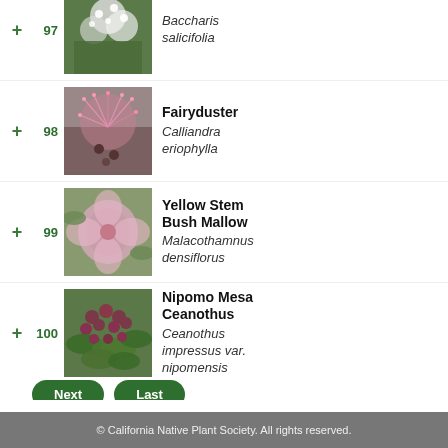97 Baccharis salicifolia
98 Fairyduster — Calliandra eriophylla
99 Yellow Stem Bush Mallow — Malacothamnus densiflorus
100 Nipomo Mesa Ceanothus — Ceanothus impressus var. nipomensis
Next | Last
© California Native Plant Society. All rights reserved.